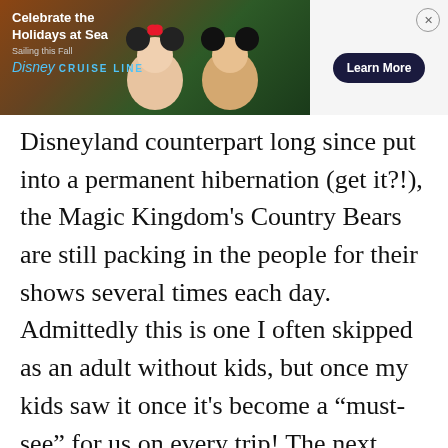[Figure (other): Disney Cruise Line advertisement banner showing Mickey and Minnie Mouse in Christmas attire with text 'Celebrate the Holidays at Sea, Sailing this Fall, Disney CRUISE LINE' and a 'Learn More' button]
Disneyland counterpart long since put into a permanent hibernation (get it?!), the Magic Kingdom's Country Bears are still packing in the people for their shows several times each day. Admittedly this is one I often skipped as an adult without kids, but once my kids saw it once it's become a "must-see" for us on every trip! The next time you walk through the lobby on your way into the show, look down at the floor. You'll see claw marks from all of